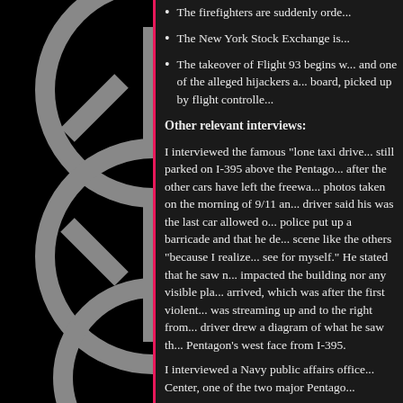The firefighters are suddenly ord...
The New York Stock Exchange is...
The takeover of Flight 93 begins w... and one of the alleged hijackers a... board, picked up by flight controlle...
Other relevant interviews:
I interviewed the famous "lone taxi drive... still parked on I-395 above the Pentago... after the other cars have left the freewa... photos taken on the morning of 9/11 an... driver said his was the last car allowed... police put up a barricade and that he de... scene like the others "because I realize... see for myself." He stated that he saw n... impacted the building nor any visible pla... arrived, which was after the first violent... was streaming up and to the right from... driver drew a diagram of what he saw th... Pentagon's west face from I-395.
I interviewed a Navy public affairs office... Center, one of the two major Pentago...